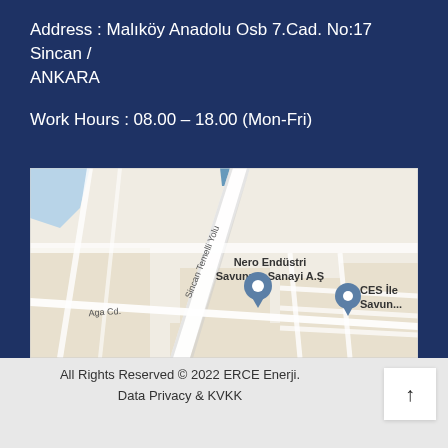Address : Malıköy Anadolu Osb 7.Cad. No:17 Sincan / ANKARA
Work Hours : 08.00 – 18.00 (Mon-Fri)
[Figure (map): Google Maps view showing Nero Endüstri Savunma Sanayi A.Ş location with pin marker in Sincan area, Ankara. Roads including Sincan Temelli Yolu and Aga Cd. visible. A second pin labeled CES İle Savun... also visible.]
All Rights Reserved © 2022 ERCE Enerji. Data Privacy & KVKK